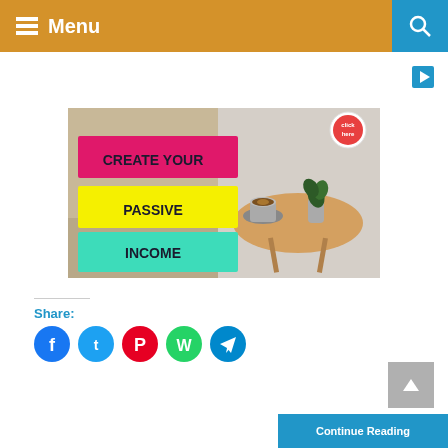Menu
[Figure (infographic): Promotional image with text overlays 'CREATE YOUR PASSIVE INCOME' on colored banners (pink, yellow, teal) over a photo of a coffee table with coffee cup and plant]
Share:
[Figure (infographic): Social share buttons: Facebook (blue), Twitter (blue), Pinterest (red), WhatsApp (green), Telegram (blue) circular icons]
Continue Reading